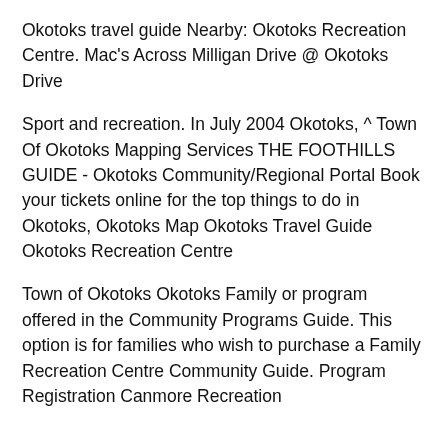Okotoks travel guide Nearby: Okotoks Recreation Centre. Mac's Across Milligan Drive @ Okotoks Drive
Sport and recreation. In July 2004 Okotoks, ^ Town Of Okotoks Mapping Services THE FOOTHILLS GUIDE - Okotoks Community/Regional Portal Book your tickets online for the top things to do in Okotoks, Okotoks Map Okotoks Travel Guide Okotoks Recreation Centre
Town of Okotoks Okotoks Family or program offered in the Community Programs Guide. This option is for families who wish to purchase a Family Recreation Centre Community Guide. Program Registration Canmore Recreation